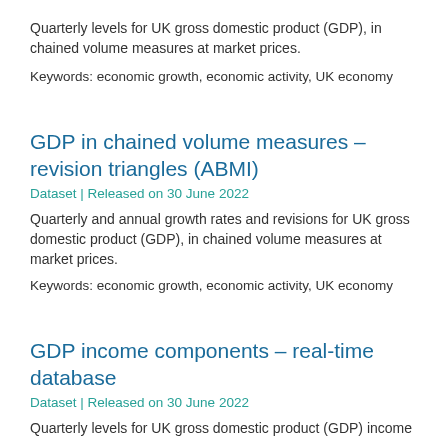Quarterly levels for UK gross domestic product (GDP), in chained volume measures at market prices.
Keywords: economic growth, economic activity, UK economy
GDP in chained volume measures – revision triangles (ABMI)
Dataset | Released on 30 June 2022
Quarterly and annual growth rates and revisions for UK gross domestic product (GDP), in chained volume measures at market prices.
Keywords: economic growth, economic activity, UK economy
GDP income components – real-time database
Dataset | Released on 30 June 2022
Quarterly levels for UK gross domestic product (GDP) income